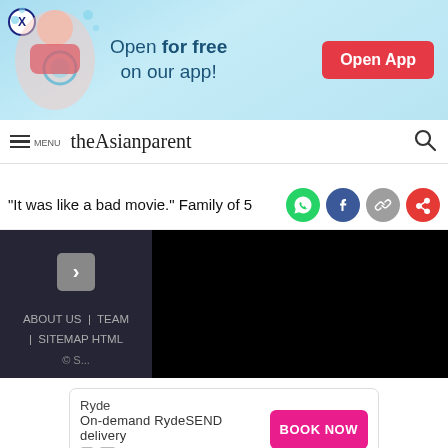[Figure (screenshot): App advertisement banner: pregnancy illustration with text 'Open for free on our app!' and a red 'Open App' button, with an X close button]
MENU  theAsianparent
"It was like a bad movie." Family of 5
[Figure (screenshot): Dark content panel with sidebar showing ABOUT US | TEAM | SITEMAP HTML links and a next arrow button, alongside a black video/image panel]
[Figure (screenshot): Ryde advertisement: 'On-demand RydeSEND delivery' with BOOK NOW button]
Tools  Articles  [home]  Feed  Poll
We use cookies to ensure you get the best experience.
Learn More    Ok, Got it